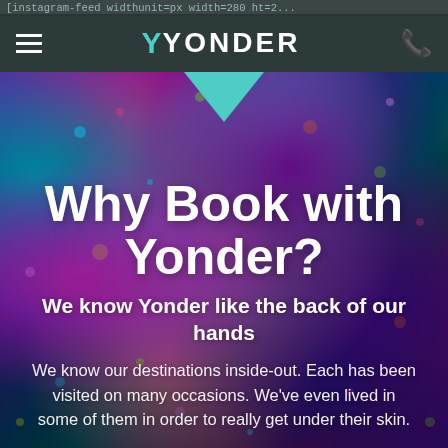[instagram-feed widthunit=px width=280 ht=2...
≡  Y YONDER  ☎
[Figure (photo): Colorful photo of a person wearing a vibrant multicolored head wrap, with pink, purple, blue, and green paint/powder splattered across. A white downward-pointing triangle chevron is overlaid at the top center.]
Why Book with Yonder?
We know Yonder like the back of our hands
We know our destinations inside-out. Each has been visited on many occasions. We've even lived in some of them in order to really get under their skin.